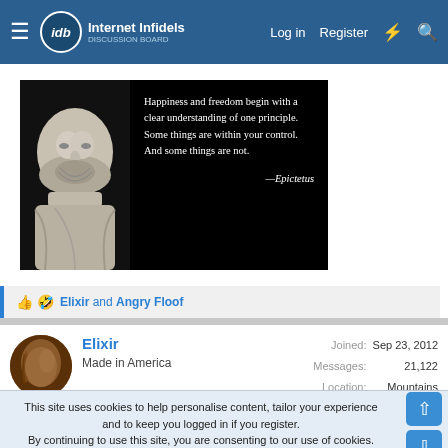Internet Infidels — Log in   Register
[Figure (photo): Black background image with marble bust of Epictetus on the left and white serif text: 'Happiness and freedom begin with a clear understanding of one principle. Some things are within your control. And some things are not. —Epictetus']
👍 🤣 Elixir and Angry Floof
Elixir
Made in America
Joined: Sep 23, 2012
Messages: 21,122
Location: Mountains
This site uses cookies to help personalise content, tailor your experience and to keep you logged in if you register.
By continuing to use this site, you are consenting to our use of cookies.
✓ Accept   Learn more...